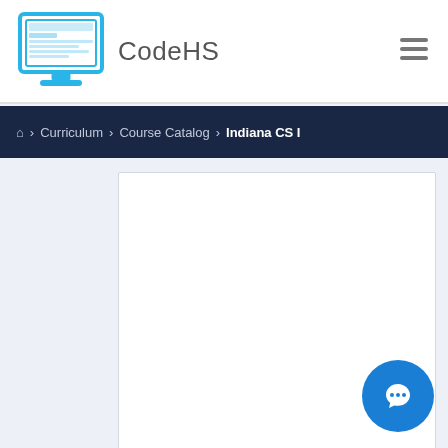CodeHS
Home > Curriculum > Course Catalog > Indiana CS I
[Figure (screenshot): White content card area, mostly empty]